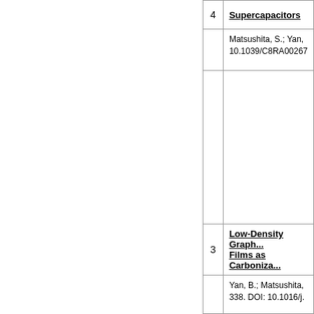| # | Title/Reference |
| --- | --- |
| 4 | Supercapacitors |
|  | Matsushita, S.; Yan, ... 10.1039/C8RA00267... |
|  |  |
| 3 | Low-Density Graph... Films as Carboniza... |
|  | Yan, B.; Matsushita, ... 338. DOI: 10.1016/j.... |
|  |  |